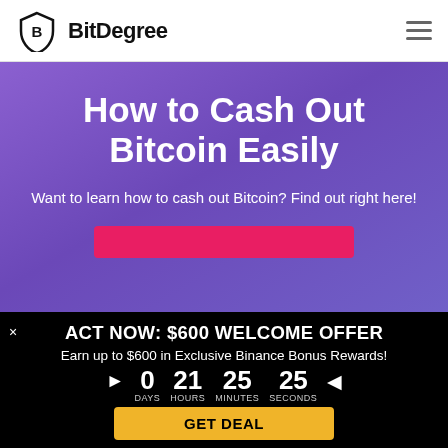[Figure (logo): BitDegree logo: shield icon with B and text 'BitDegree']
How to Cash Out Bitcoin Easily
Want to learn how to cash out Bitcoin? Find out right here!
ACT NOW: $600 WELCOME OFFER
Earn up to $600 in Exclusive Binance Bonus Rewards!
0 DAYS  21 HOURS  25 MINUTES  25 SECONDS
GET DEAL